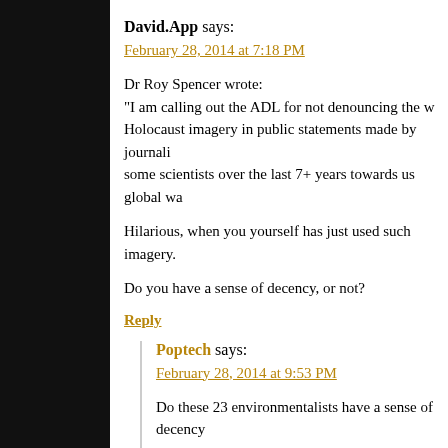David.App says:
February 28, 2014 at 7:18 PM
Dr Roy Spencer wrote:
“I am calling out the ADL for not denouncing the use of Holocaust imagery in public statements made by journalists and some scientists over the last 7+ years towards us global wa…
Hilarious, when you yourself has just used such imagery.
Do you have a sense of decency, or not?
Reply
Poptech says:
February 28, 2014 at 9:53 PM
Do these 23 environmentalists have a sense of decency…
Skeptics Smeared As Holocaust Deniers, ADL Silent